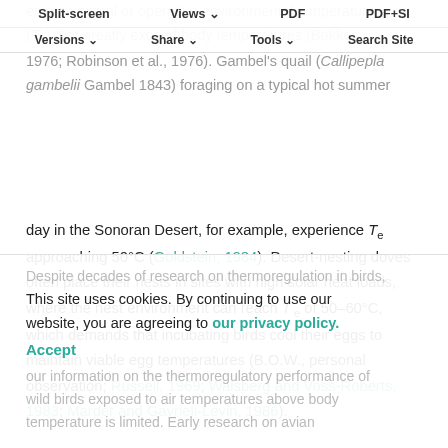Split-screen | Views | PDF | PDF+SI | Versions | Share | Tools | Search Site
environmental or operative environmental temperatures (Te) that greatly exceed body temperatures (Bakken, 1976; Robinson et al., 1976). Gambel's quail (Callipepla gambelii Gambel 1843) foraging on a typical hot summer day in the Sonoran Desert, for example, experience Te approaching 50°C (Goldstein, 1984). Desert-nesting doves often place their nests in sites with high solar heat loads, where the nest environment can reach Te of 50–60°C, which demands that incubating birds cool their eggs to maintain viable egg temperatures (B.O.W., personal observation; Russell, 1969; Walsberg and Voss-Roberts, 1983; Marder and Gavrieli-Levin, 1986).
Despite decades of research on thermoregulation in birds, our information on the thermoregulatory performance of wild birds exposed to air temperatures above body temperature is limited. Early research on avian
This site uses cookies. By continuing to use our website, you are agreeing to our privacy policy. Accept